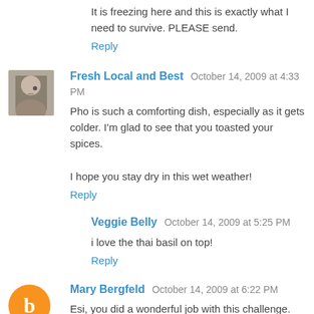It is freezing here and this is exactly what I need to survive. PLEASE send.
Reply
Fresh Local and Best  October 14, 2009 at 4:33 PM
Pho is such a comforting dish, especially as it gets colder. I'm glad to see that you toasted your spices.

I hope you stay dry in this wet weather!
Reply
Veggie Belly  October 14, 2009 at 5:25 PM
i love the thai basil on top!
Reply
Mary Bergfeld  October 14, 2009 at 6:22 PM
Esi, you did a wonderful job with this challenge. Kudos.